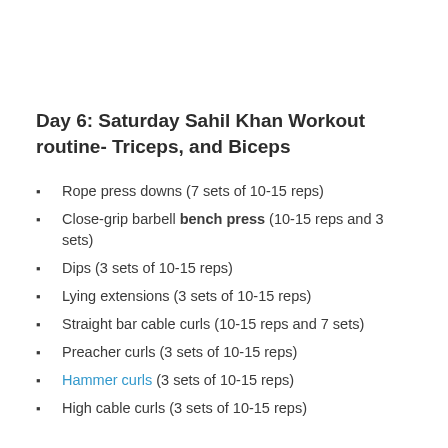Day 6: Saturday Sahil Khan Workout routine- Triceps, and Biceps
Rope press downs (7 sets of 10-15 reps)
Close-grip barbell bench press (10-15 reps and 3 sets)
Dips (3 sets of 10-15 reps)
Lying extensions (3 sets of 10-15 reps)
Straight bar cable curls (10-15 reps and 7 sets)
Preacher curls (3 sets of 10-15 reps)
Hammer curls (3 sets of 10-15 reps)
High cable curls (3 sets of 10-15 reps)